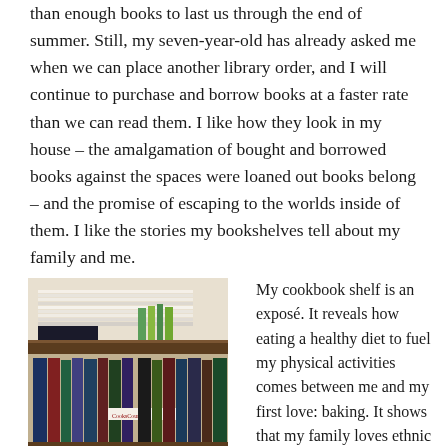than enough books to last us through the end of summer. Still, my seven-year-old has already asked me when we can place another library order, and I will continue to purchase and borrow books at a faster rate than we can read them. I like how they look in my house – the amalgamation of bought and borrowed books against the spaces were loaned out books belong – and the promise of escaping to the worlds inside of them. I like the stories my bookshelves tell about my family and me.
[Figure (photo): Photo of a bookshelf with stacks of cookbooks and other books arranged on two shelves.]
My cookbook shelf is an exposé. It reveals how eating a healthy diet to fuel my physical activities comes between me and my first love: baking. It shows that my family loves ethnic foods and is devoted to the Food Network. It provides a history of me showing others